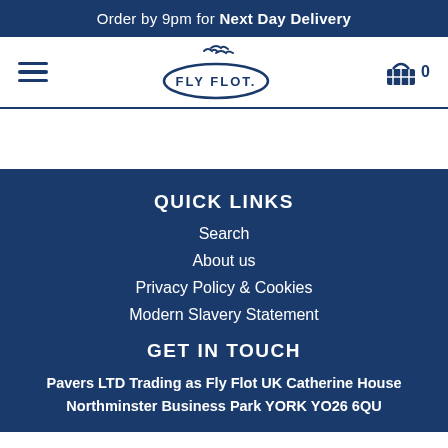Order by 9pm for Next Day Delivery
[Figure (logo): Fly Flot logo with seagulls and oval border, hamburger menu icon on left, shopping basket icon on right with 0]
QUICK LINKS
Search
About us
Privacy Policy & Cookies
Modern Slavery Statement
GET IN TOUCH
Pavers LTD Trading as Fly Flot UK Catherine House Northminster Business Park YORK YO26 6QU